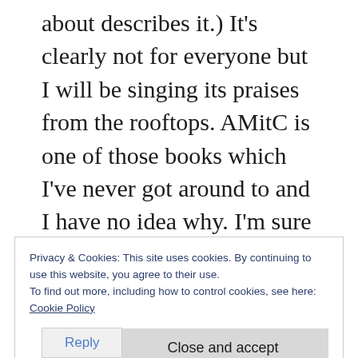about describes it.) It's clearly not for everyone but I will be singing its praises from the rooftops. AMitC is one of those books which I've never got around to and I have no idea why. I'm sure I'll love it. Hamnet I have on my Kindle – one day I'll get to it. As for reading and Covid, after an initial stall, I have picked up again but I know that my reading remains very much impacted and in a variety of ways. I read less; I read at different times to before; there are some books which I just
Privacy & Cookies: This site uses cookies. By continuing to use this website, you agree to their use.
To find out more, including how to control cookies, see here:
Cookie Policy
Close and accept
Reply